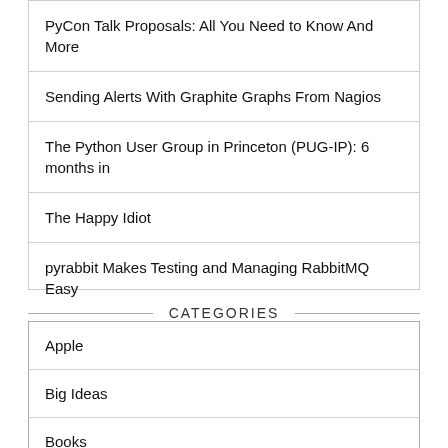PyCon Talk Proposals: All You Need to Know And More
Sending Alerts With Graphite Graphs From Nagios
The Python User Group in Princeton (PUG-IP): 6 months in
The Happy Idiot
pyrabbit Makes Testing and Managing RabbitMQ Easy
CATEGORIES
Apple
Big Ideas
Books